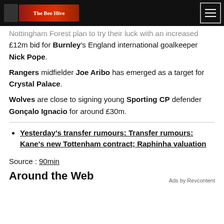The Bee Hive
Nottingham Forest plan to try their luck with an increased £12m bid for Burnley's England international goalkeeper Nick Pope.
Rangers midfielder Joe Aribo has emerged as a target for Crystal Palace.
Wolves are close to signing young Sporting CP defender Gonçalo Ignacio for around £30m.
Yesterday's transfer rumours: Transfer rumours: Kane's new Tottenham contract; Raphinha valuation
Source : 90min
Around the Web